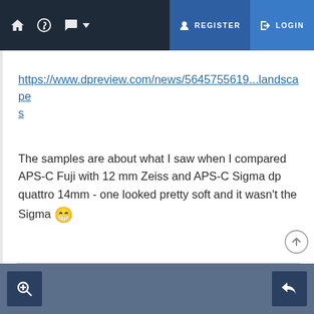REGISTER  LOGIN
https://www.dpreview.com/news/5645755619...landscapes
The samples are about what I saw when I compared APS-C Fuji with 12 mm Zeiss and APS-C Sigma dp quattro 14mm - one looked pretty soft and it wasn't the Sigma 😁